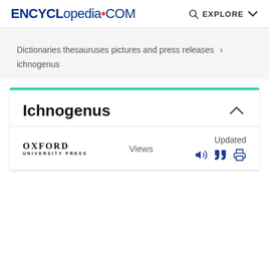ENCYCLopedia.com  EXPLORE
Dictionaries thesauruses pictures and press releases › ichnogenus
Ichnogenus
[Figure (logo): Oxford University Press logo with text OXFORD UNIVERSITY PRESS]
Views
Updated